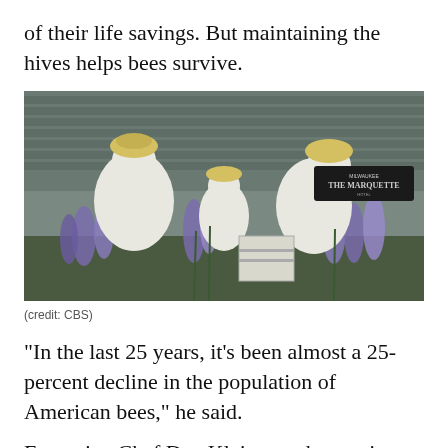of their life savings. But maintaining the hives helps bees survive.
[Figure (photo): Beekeepers in white protective suits tending to beehives among purple lavender flowers outside a building. A sign reading 'The Marquette' is visible in the background.]
(credit: CBS)
"In the last 25 years, it's been almost a 25-percent decline in the population of American bees," he said.
Executive Chef Dan Klein says harvesting honey and